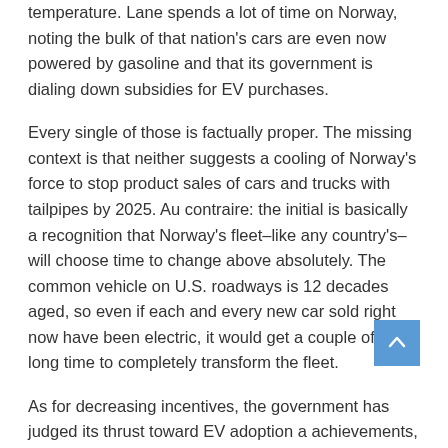temperature. Lane spends a lot of time on Norway, noting the bulk of that nation's cars are even now powered by gasoline and that its government is dialing down subsidies for EV purchases.
Every single of those is factually proper. The missing context is that neither suggests a cooling of Norway's force to stop product sales of cars and trucks with tailpipes by 2025. Au contraire: the initial is basically a recognition that Norway's fleet–like any country's–will choose time to change above absolutely. The common vehicle on U.S. roadways is 12 decades aged, so even if each and every new car sold right now have been electric, it would get a couple of a long time to completely transform the fleet.
As for decreasing incentives, the government has judged its thrust toward EV adoption a achievements, to the